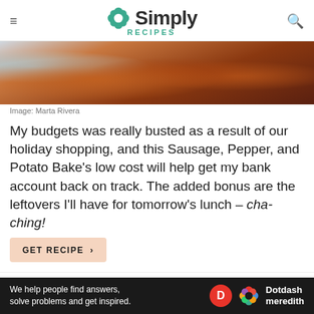Simply Recipes
[Figure (photo): Close-up photo of roasted sausages, peppers, and potatoes in a baking dish with herbs]
Image: Marta Rivera
My budgets was really busted as a result of our holiday shopping, and this Sausage, Pepper, and Potato Bake's low cost will help get my bank account back on track. The added bonus are the leftovers I'll have for tomorrow's lunch – cha-ching!
GET RECIPE >
4. Albondigas Soup (Mexican...
[Figure (other): Dotdash Meredith advertisement banner: We help people find answers, solve problems and get inspired.]